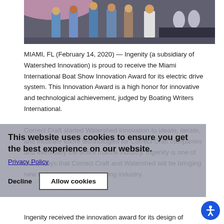[Figure (photo): Group photo of several people standing on a stage, likely at an award ceremony. Awards trophies visible in the background on the right.]
MIAMI, FL (February 14, 2020) — Ingenity (a subsidiary of Watershed Innovation) is proud to receive the Miami International Boat Show Innovation Award for its electric drive system. This Innovation Award is a high honor for innovative and technological achievement, judged by Boating Writers International.

Correct Craft started Watershed Innovation to ideate, iterate, and incubate future technologies for Correct Craft companies and eventually the entire marine industry. Ingenity is one of many ways that Correct Craft and Watershed will be bringing new technologies to the boating industry.
This website uses cookies to ensure you get the best experience on our website.
Privacy Policy
Decline   Allow cookies
Ingenity received the innovation award for its design of